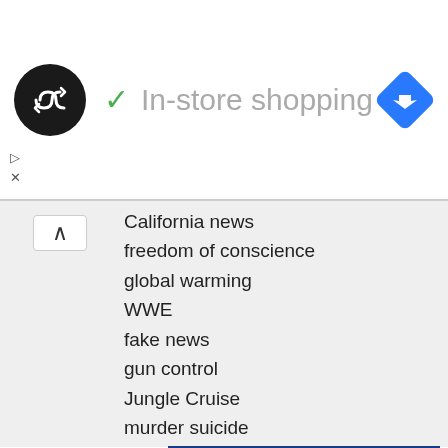[Figure (logo): Black circular logo with double-arrow/infinity-like icon, 'In-store shopping' text with green checkmark, and blue diamond navigation icon on the right]
California news
freedom of conscience
global warming
WWE
fake news
gun control
Jungle Cruise
murder suicide
Toy Story
Secret Life of Pets
Black Adam
Boko Haram
racism in America
US Senate
[Figure (logo): National logo with red star-patterned shield and blue 'NATIONAL' text]